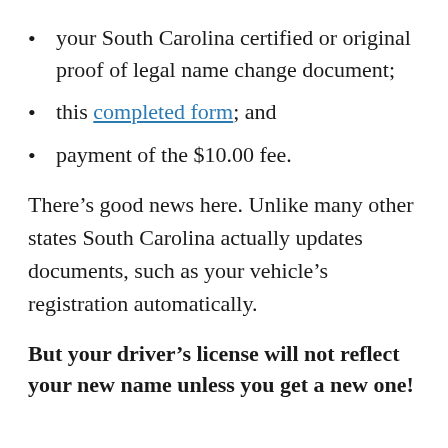your South Carolina certified or original proof of legal name change document;
this completed form; and
payment of the $10.00 fee.
There’s good news here. Unlike many other states South Carolina actually updates documents, such as your vehicle’s registration automatically.
But your driver’s license will not reflect your new name unless you get a new one!